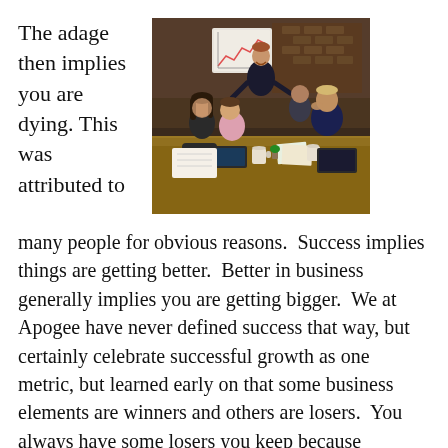The adage then implies you are dying. This was attributed to
[Figure (photo): A business meeting scene with several people around a table. One person standing and gesturing/presenting, others seated looking stressed or distracted. Laptops, papers, and coffee cups on a wooden table. Brick wall background.]
many people for obvious reasons. Success implies things are getting better. Better in business generally implies you are getting bigger. We at Apogee have never defined success that way, but certainly celebrate successful growth as one metric, but learned early on that some business elements are winners and others are losers. You always have some losers you keep because extracting them just